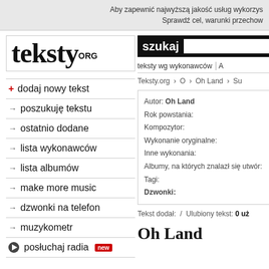Aby zapewnić najwyższą jakość usług wykorzys... Sprawdź cel, warunki przechow...
[Figure (logo): teksty.ORG logo in serif bold text]
+ dodaj nowy tekst
→ poszukuję tekstu
→ ostatnio dodane
→ lista wykonawców
→ lista albumów
→ make more music
→ dzwonki na telefon
→ muzykometr
▶ posłuchaj radia new
szukaj
teksty wg wykonawców | A
Teksty.org › O › Oh Land › Su
Autor: Oh Land
Rok powstania:
Kompozytor:
Wykonanie oryginalne:
Inne wykonania:
Alumy, na których znalazł się utwór:
Tagi:
Dzwonki:
Tekst dodał: / Ulubiony tekst: 0 uż
Oh Land